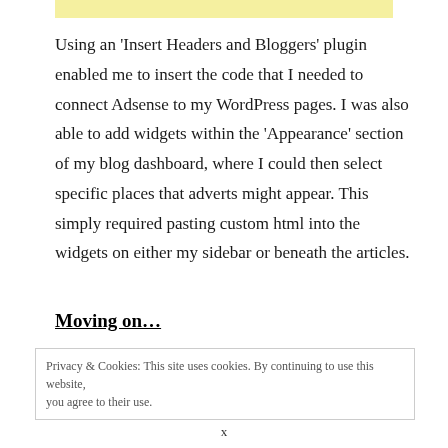Using an 'Insert Headers and Bloggers' plugin enabled me to insert the code that I needed to connect Adsense to my WordPress pages. I was also able to add widgets within the 'Appearance' section of my blog dashboard, where I could then select specific places that adverts might appear. This simply required pasting custom html into the widgets on either my sidebar or beneath the articles.
Moving on…
Privacy & Cookies: This site uses cookies. By continuing to use this website, you agree to their use.
x